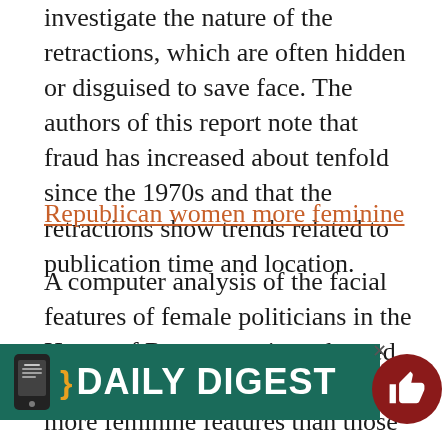investigate the nature of the retractions, which are often hidden or disguised to save face. The authors of this report note that fraud has increased about tenfold since the 1970s and that the retractions show trends related to publication time and location.
Republican women more feminine
A computer analysis of the facial features of female politicians in the House of Representatives showed that republican women tend to have more feminine features than those in the Democratic Party, whereas democratic men tend to appear more masculine than republican men. The researchers also discovered that the effect was correlated with the conservative ranking of republican politicians, suggesting that the
[Figure (other): Daily Digest app promotion banner with teal/dark green background, phone icon on left, bold white text 'DAILY DIGEST', with a close X button above and a dark red thumbs-up circle button on the right]